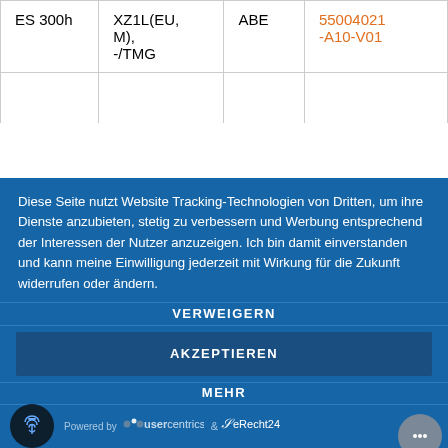| ES 300h | XZ1L(EU, M), -/TMG | ABE | 55004021-A10-V01 |
|  |  |  |  |
Diese Seite nutzt Website Tracking-Technologien von Dritten, um ihre Dienste anzubieten, stetig zu verbessern und Werbung entsprechend der Interessen der Nutzer anzuzeigen. Ich bin damit einverstanden und kann meine Einwilligung jederzeit mit Wirkung für die Zukunft widerrufen oder ändern.
VERWEIGERN
AKZEPTIEREN
MEHR
Powered by usercentrics & eRecht24